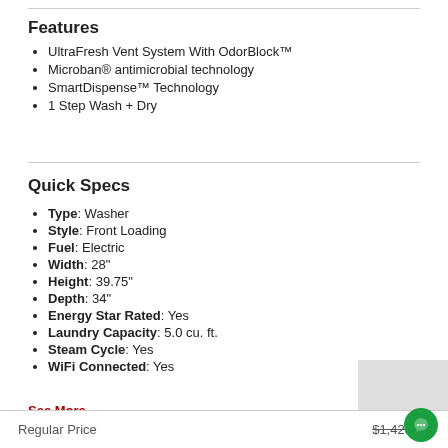Features
UltraFresh Vent System With OdorBlock™
Microban® antimicrobial technology
SmartDispense™ Technology
1 Step Wash + Dry
Quick Specs
Type: Washer
Style: Front Loading
Fuel: Electric
Width: 28"
Height: 39.75"
Depth: 34"
Energy Star Rated: Yes
Laundry Capacity: 5.0 cu. ft.
Steam Cycle: Yes
WiFi Connected: Yes
See More
Regular Price $1,423.00